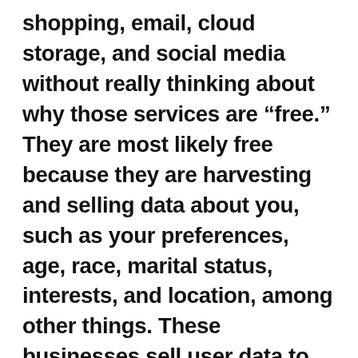shopping, email, cloud storage, and social media without really thinking about why those services are “free.” They are most likely free because they are harvesting and selling data about you, such as your preferences, age, race, marital status, interests, and location, among other things. These businesses sell user data to advertisers, who use that data to direct targeted advertisements to you based on your interests and online activity. For example, if you browse for shoes online, you may see ads for shoes on other sites you visit for a while after that. If you use a free site or app that finds promotional codes for you to apply at checkout, it